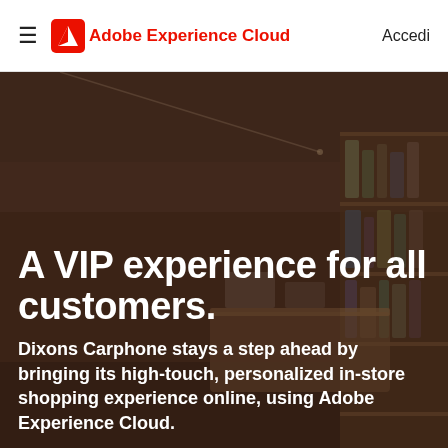Adobe Experience Cloud — Accedi
[Figure (photo): Retail store interior showing shelves with products, dark-tinted background image of a modern consumer electronics or gift shop]
A VIP experience for all customers.
Dixons Carphone stays a step ahead by bringing its high-touch, personalized in-store shopping experience online, using Adobe Experience Cloud.